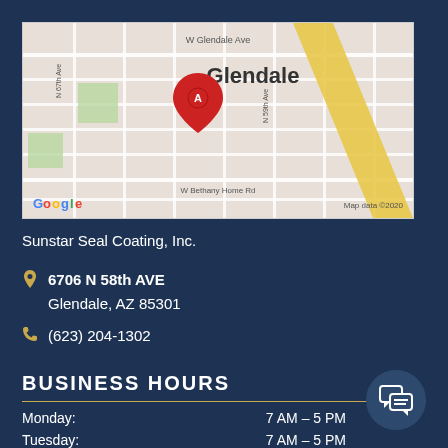[Figure (map): Google Maps screenshot showing location marker 'A' in Glendale, AZ near 6706 N 58th Ave. Streets visible include W Glendale Ave and W Bethany Home Rd. Map data ©2020.]
Sunstar Seal Coating, Inc.
6706 N 58th AVE
Glendale, AZ 85301
(623) 204-1302
BUSINESS HOURS
Monday: 7 AM – 5 PM
Tuesday: 7 AM – 5 PM
Wednesday: 7 AM – 5 PM